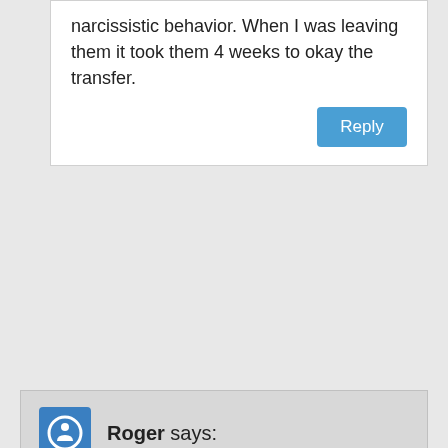narcissistic behavior. When I was leaving them it took them 4 weeks to okay the transfer.
Reply
Roger says:
September 22, 2016 at 2:55 pm
Can vanity nameservers be used with a VPS package ? Or is therea similar option ? I dont see that option in the spec of the vps packages (in some other companies vps packages I see it stated as "custom nameservers"). Can you please shed some light on this and explain what the options